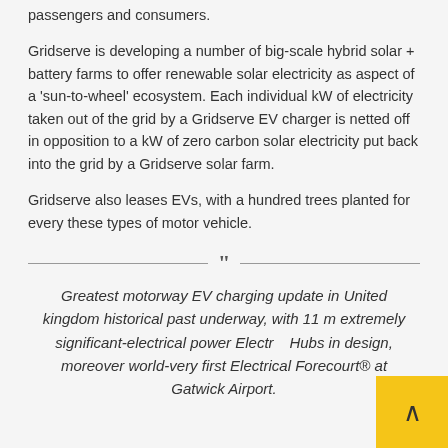passengers and consumers.
Gridserve is developing a number of big-scale hybrid solar + battery farms to offer renewable solar electricity as aspect of a 'sun-to-wheel' ecosystem. Each individual kW of electricity taken out of the grid by a Gridserve EV charger is netted off in opposition to a kW of zero carbon solar electricity put back into the grid by a Gridserve solar farm.
Gridserve also leases EVs, with a hundred trees planted for every these types of motor vehicle.
Greatest motorway EV charging update in United kingdom historical past underway, with 11 m extremely significant-electrical power Electrical Hubs in design, moreover world-very first Electrical Forecourt® at Gatwick Airport.